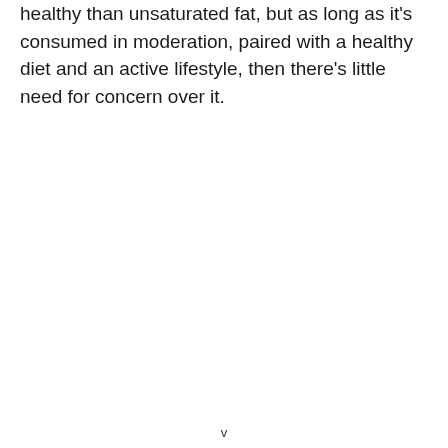healthy than unsaturated fat, but as long as it's consumed in moderation, paired with a healthy diet and an active lifestyle, then there's little need for concern over it.
v